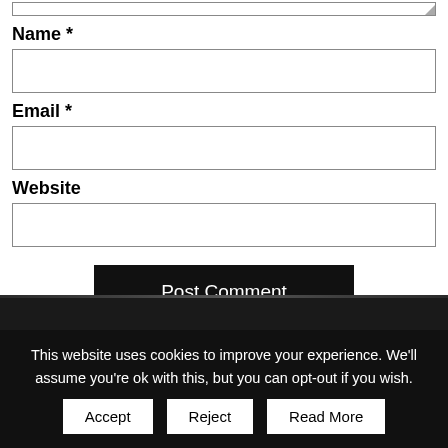[Figure (screenshot): Partial textarea input box at the top of the page, showing the bottom edge with resize handle]
Name *
[Figure (screenshot): Empty Name input field]
Email *
[Figure (screenshot): Empty Email input field]
Website
[Figure (screenshot): Empty Website input field]
Post Comment
This website uses cookies to improve your experience. We'll assume you're ok with this, but you can opt-out if you wish. Accept Reject Read More